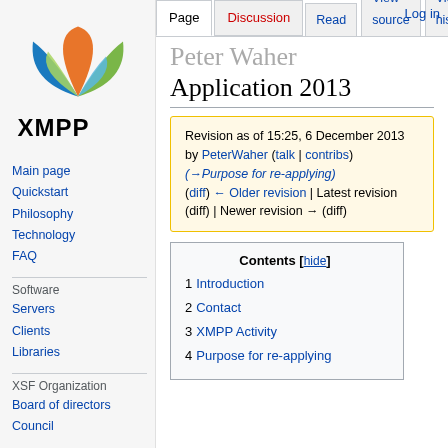[Figure (logo): XMPP logo: colorful star/leaf shape in blue, green, orange above bold text XMPP]
Log in
Page | Discussion | Read | View source | View history | Search X
Peter Waher Application 2013
Revision as of 15:25, 6 December 2013 by PeterWaher (talk | contribs) (→Purpose for re-applying) (diff) ← Older revision | Latest revision (diff) | Newer revision → (diff)
Contents [hide]
1 Introduction
2 Contact
3 XMPP Activity
4 Purpose for re-applying
Main page
Quickstart
Philosophy
Technology
FAQ
Software
Servers
Clients
Libraries
XSF Organization
Board of directors
Council